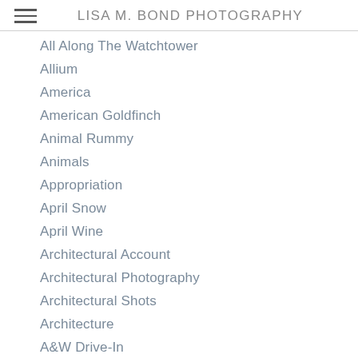LISA M. BOND PHOTOGRAPHY
All Along The Watchtower
Allium
America
American Goldfinch
Animal Rummy
Animals
Appropriation
April Snow
April Wine
Architectural Account
Architectural Photography
Architectural Shots
Architecture
A&W Drive-In
AZ Canteen
Azia
Babies
Bacon
Baking